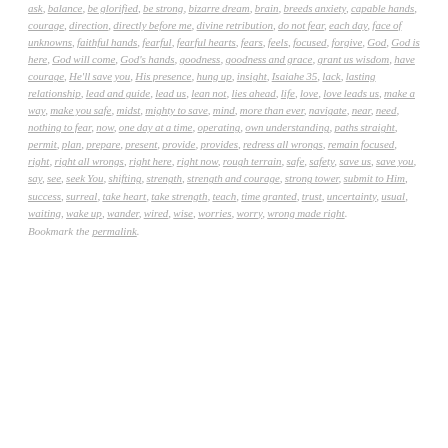ask, balance, be glorified, be strong, bizarre dream, brain, breeds anxiety, capable hands, courage, direction, directly before me, divine retribution, do not fear, each day, face of unknowns, faithful hands, fearful, fearful hearts, fears, feels, focused, forgive, God, God is here, God will come, God's hands, goodness, goodness and grace, grant us wisdom, have courage, He'll save you, His presence, hung up, insight, Isaiahe 35, lack, lasting relationship, lead and guide, lead us, lean not, lies ahead, life, love, love leads us, make a way, make you safe, midst, mighty to save, mind, more than ever, navigate, near, need, nothing to fear, now, one day at a time, operating, own understanding, paths straight, permit, plan, prepare, present, provide, provides, redress all wrongs, remain focused, right, right all wrongs, right here, right now, rough terrain, safe, safety, save us, save you, say, see, seek You, shifting, strength, strength and courage, strong tower, submit to Him, success, surreal, take heart, take strength, teach, time granted, trust, uncertainty, usual, waiting, wake up, wander, wired, wise, worries, worry, wrong made right. Bookmark the permalink.